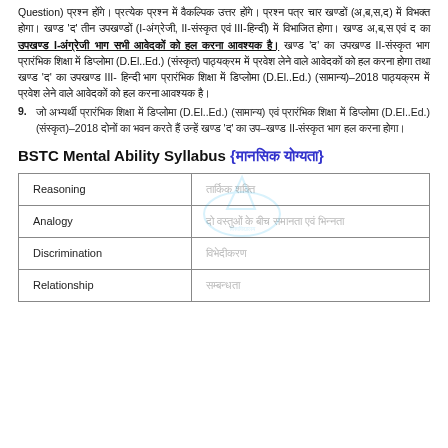Question) प्रश्न होंगे। प्रत्येक प्रश्न में वैकल्पिक उत्तर होंगे। प्रश्न पत्र चार खण्डों (अ,ब,स,द) में विभक्त होगा। खण्ड 'द' तीन उपखण्डों (I-अंग्रेजी, II-संस्कृत एवं III-हिन्दी) में विभाजित होगा। खण्ड अ,ब,स एवं द का उपखण्ड I-अंग्रेजी भाग सभी आवेदकों को हल करना आवश्यक है। खण्ड 'द' का उपखण्ड II-संस्कृत भाग प्रारंभिक शिक्षा में डिप्लोमा (D.El..Ed.) (संस्कृत) पाठ्यक्रम में प्रवेश लेने वाले आवेदकों को हल करना होगा तथा खण्ड 'द' का उपखण्ड III- हिन्दी भाग प्रारंभिक शिक्षा में डिप्लोमा (D.El..Ed.) (सामान्य)–2018 पाठ्यक्रम में प्रवेश लेने वाले आवेदकों को हल करना आवश्यक है।
9. जो अभ्यर्थी प्रारंभिक शिक्षा में डिप्लोमा (D.El..Ed.) (सामान्य) एवं प्रारंभिक शिक्षा में डिप्लोमा (D.El..Ed.) (संस्कृत)–2018 दोनों का भवन करते हैं उन्हें खण्ड 'द' का उप–खण्ड II-संस्कृत भाग हल करना होगा।
BSTC Mental Ability Syllabus {मानसिक योग्यता}
|  |  |
| --- | --- |
| Reasoning | तार्किक शक्ति |
| Analogy | दो वस्तुओं के बीच समानता एवं भिन्नता |
| Discrimination | विभेदीकरण |
| Relationship | सम्बन्धता |